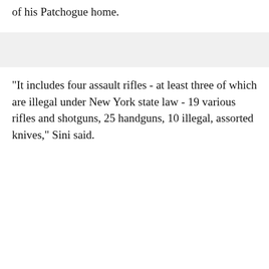of his Patchogue home.
"It includes four assault rifles - at least three of which are illegal under New York state law - 19 various rifles and shotguns, 25 handguns, 10 illegal, assorted knives," Sini said.